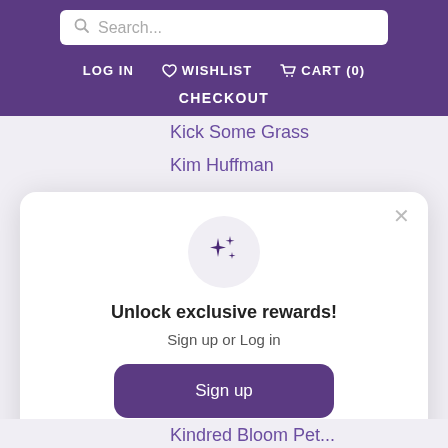Search...
LOG IN   WISHLIST   CART (0)   CHECKOUT
Kick Some Grass
Kim Huffman
[Figure (illustration): Sparkle/stars icon inside a light gray circle]
Unlock exclusive rewards!
Sign up or Log in
Sign up
Already have an account? Sign in
Kindred Bloom Pet...